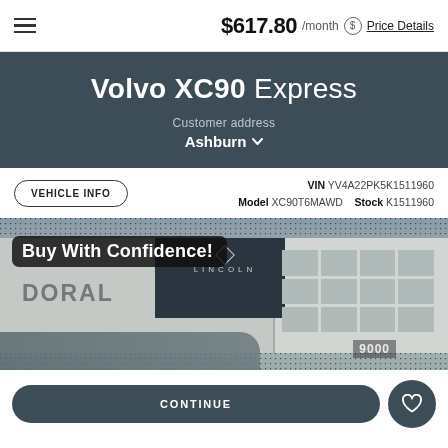$617.80 /month Price Details
Volvo XC90 Express
Customer address
Ashburn
VEHICLE INFO   VIN YV4A22PK5K1511960   Model XC90T6MAWD   Stock K1511960
[Figure (photo): Dealership storefront photo showing DORAL and LINCOLN signage with 'Buy With Confidence!' banner overlay]
CONTINUE